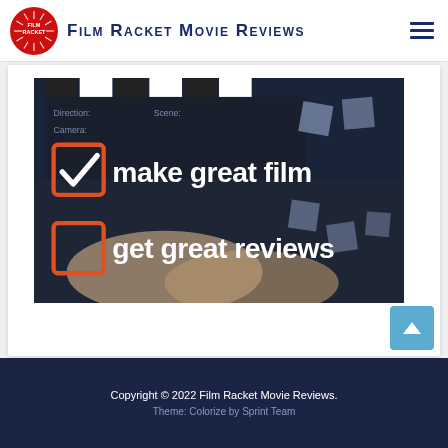Film Racket Movie Reviews
[Figure (illustration): Dark-toned image of a clapperboard with hands, showing two checkbox items: a checked orange checkbox with 'make great film' and an unchecked orange checkbox with 'get great reviews', in white bold text overlay.]
Copyright © 2022 Film Racket Movie Reviews.